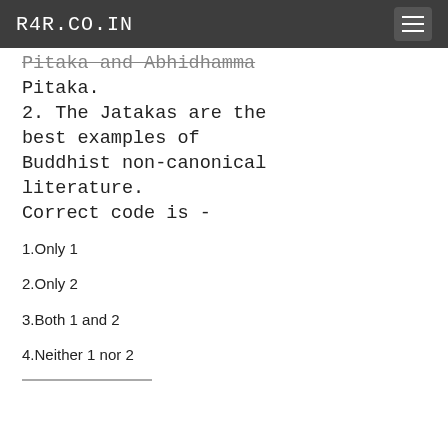R4R.CO.IN
Pitaka and Abhidhamma Pitaka.
2. The Jatakas are the best examples of Buddhist non-canonical literature.
Correct code is -
1.Only 1
2.Only 2
3.Both 1 and 2
4.Neither 1 nor 2